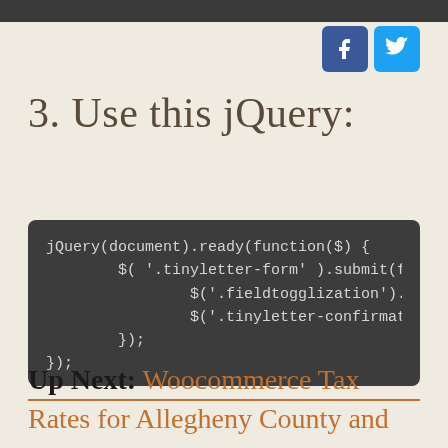[Figure (other): Social media share buttons: Facebook (blue) and Twitter (light blue)]
3. Use this jQuery:
Up Next: Woocommerce Tax Rates for Allegheny County and